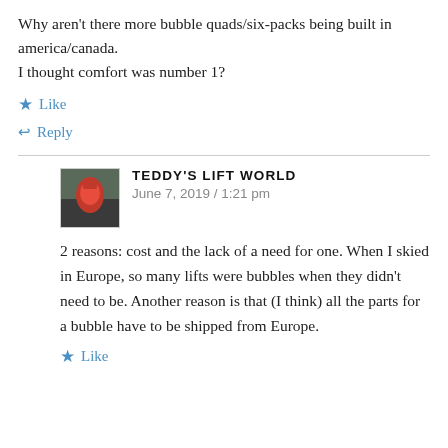Why aren't there more bubble quads/six-packs being built in america/canada.
I thought comfort was number 1?
★ Like
↩ Reply
TEDDY'S LIFT WORLD
June 7, 2019 / 1:21 pm
2 reasons: cost and the lack of a need for one. When I skied in Europe, so many lifts were bubbles when they didn't need to be. Another reason is that (I think) all the parts for a bubble have to be shipped from Europe.
★ Like